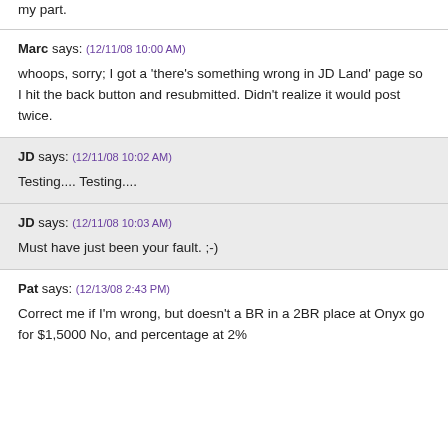my part.
Marc says: (12/11/08 10:00 AM)
whoops, sorry; I got a 'there's something wrong in JD Land' page so I hit the back button and resubmitted. Didn't realize it would post twice.
JD says: (12/11/08 10:02 AM)
Testing.... Testing....
JD says: (12/11/08 10:03 AM)
Must have just been your fault. ;-)
Pat says: (12/13/08 2:43 PM)
Correct me if I'm wrong, but doesn't a BR in a 2BR place at Onyx go for $1,5000 No, and percentage at 2%